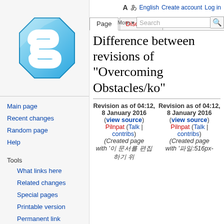A あ English  Create account  Log in
[Figure (logo): Wikiversity/wiki blue chain-link logo, blue polygonal 3D chain shape on light gray background]
Main page
Recent changes
Random page
Help
Tools
What links here
Related changes
Special pages
Printable version
Permanent link
Page information
Cite this page
Difference between revisions of "Overcoming Obstacles/ko"
Revision as of 04:12, 8 January 2016 (view source)
Pilnpat (Talk | contribs)
(Created page with '이 문서를 편집하기 위
Revision as of 04:12, 8 January 2016 (view source)
Pilnpat (Talk | contribs)
(Created page with '파일:516px-